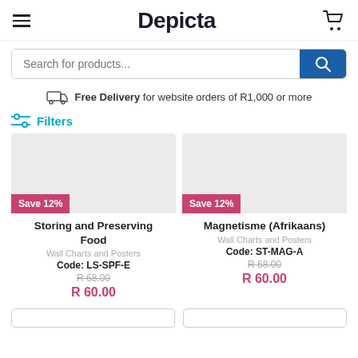Depicta
Search for products...
Free Delivery for website orders of R1,000 or more
Filters
[Figure (screenshot): Product card: Storing and Preserving Food, Save 12% badge, Wall Charts and Posters, Code: LS-SPF-E, R 68.00 original price, R 60.00 sale price]
[Figure (screenshot): Product card: Magnetisme (Afrikaans), Save 12% badge, Wall Charts and Posters, Code: ST-MAG-A, R 68.00 original price, R 60.00 sale price]